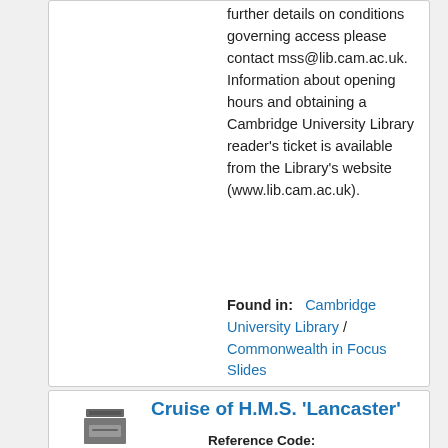further details on conditions governing access please contact mss@lib.cam.ac.uk. Information about opening hours and obtaining a Cambridge University Library reader's ticket is available from the Library's website (www.lib.cam.ac.uk).
Found in:   Cambridge University Library / Commonwealth in Focus Slides
[Figure (other): Fonds archive box icon with label 'Fonds']
Cruise of H.M.S. 'Lancaster'
Reference Code: GBR/0115/RCS/Y3011HHH